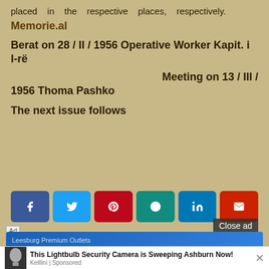placed in the respective places, respectively.
Memorie.al
Berat on 28 / II / 1956 Operative Worker Kapit. i I-rë
Meeting on 13 / III / 1956 Thoma Pashko
The next issue follows
[Figure (infographic): Social media share buttons: Facebook, Twitter, Pinterest, WhatsApp, LinkedIn, Email]
[Figure (screenshot): Advertisement banner: Leesburg Premium Outlets - Back To School Shopping Deals - Gear up for back to school!]
[Figure (screenshot): Bottom ad: This Lightbulb Security Camera is Sweeping Ashburn Now! - Keillini | Sponsored]